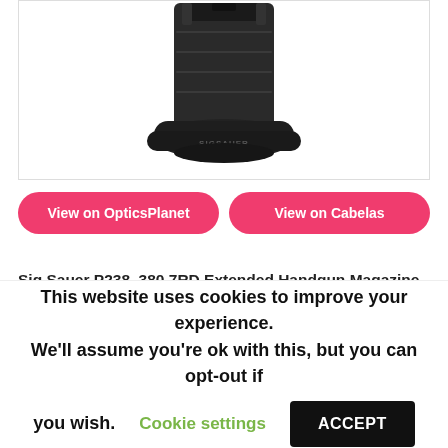[Figure (photo): Sig Sauer P238 .380 7RD Extended Handgun Magazine product photo showing a black steel extended magazine with blued finish and SIG SAUER branding on the base plate]
View on OpticsPlanet
View on Cabelas
Sig Sauer P238 .380 7RD Extended Handgun Magazine – This extended magazine is designed to fit the Sig Sauer P238 pistol and holds 7 rounds of ammunition. It is made of steel and features a blued finish for durability. The spring is made of
This website uses cookies to improve your experience. We'll assume you're ok with this, but you can opt-out if you wish.
Cookie settings
ACCEPT